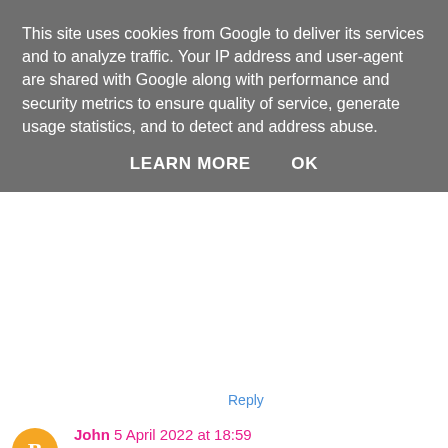This site uses cookies from Google to deliver its services and to analyze traffic. Your IP address and user-agent are shared with Google along with performance and security metrics to ensure quality of service, generate usage statistics, and to detect and address abuse.
LEARN MORE   OK
Reply
John 5 April 2022 at 18:59
If that's too crowded, check out photogenic Jalo western coast with its scattered, secluded beach
Reply
AlayaSEO 7 April 2022 at 12:45
Famous for its tranquil pink-sand beaches and p restaurants. Vacation to St Lucia